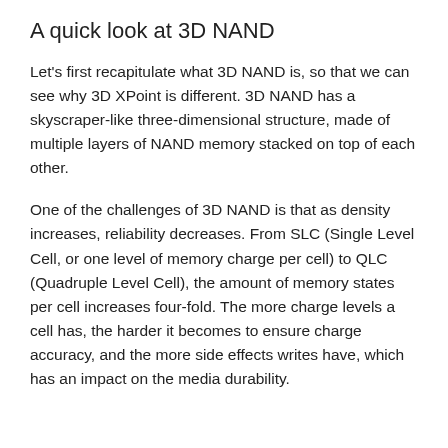A quick look at 3D NAND
Let's first recapitulate what 3D NAND is, so that we can see why 3D XPoint is different. 3D NAND has a skyscraper-like three-dimensional structure, made of multiple layers of NAND memory stacked on top of each other.
One of the challenges of 3D NAND is that as density increases, reliability decreases. From SLC (Single Level Cell, or one level of memory charge per cell) to QLC (Quadruple Level Cell), the amount of memory states per cell increases four-fold. The more charge levels a cell has, the harder it becomes to ensure charge accuracy, and the more side effects writes have, which has an impact on the media durability.